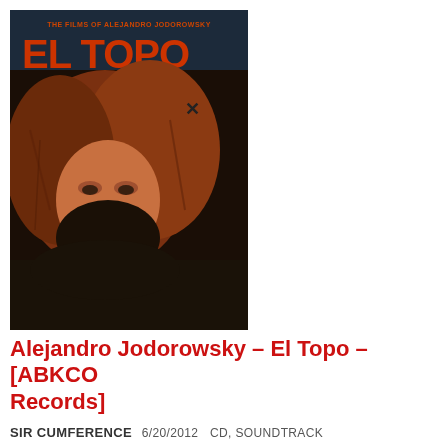[Figure (photo): Album cover for El Topo Soundtrack by Alejandro Jodorowsky on ABKCO Records. Shows a man with curly reddish-brown hair and a dark beard, with text 'THE FILMS OF ALEJANDRO JODOROWSKY' at top, 'EL TOPO' in large letters, and 'SOUNDTRACK' below.]
Alejandro Jodorowsky – El Topo – [ABKCO Records]
SIR CUMFERENCE   6/20/2012   CD, SOUNDTRACK
Alejandro Jodorowsky reads to be quite an interesting person. Born